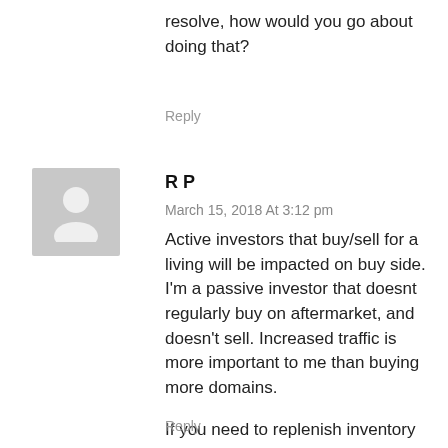resolve, how would you go about doing that?
Reply
[Figure (illustration): Grey avatar placeholder image showing a generic person silhouette]
R P
March 15, 2018 At 3:12 pm
Active investors that buy/sell for a living will be impacted on buy side. I'm a passive investor that doesnt regularly buy on aftermarket, and doesn't sell. Increased traffic is more important to me than buying more domains.

If you need to replenish inventory these changes do not give you any reason to sell cheap.
Reply